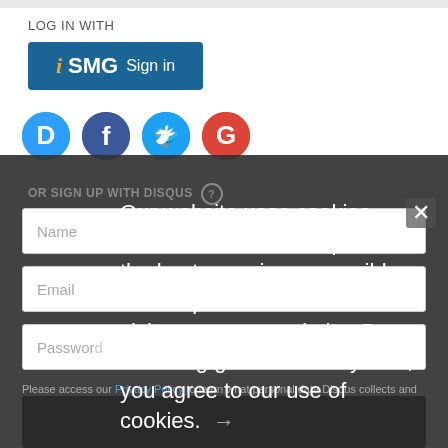LOG IN WITH
[Figure (logo): iSMG Sign in button - blue rectangle with iSMG logo and Sign in text]
[Figure (illustration): Social login icons row: Disqus (blue circle D), Facebook (dark blue circle f), Twitter (light blue circle bird), Google (red circle G)]
OR SIGN UP WITH DISQUS ?
Name
Email
Password
Please access our Privacy Policy to learn what personal data Disqus collects and your choices about how it is used. All users of our service are also subject to our Terms of Service
I'd rather post as a guest
[Figure (screenshot): Cookie notice overlay text: Our website uses cookies. Cookies enable us to provide the best experience possible and help us understand how visitors use our website. By browsing govinfosecurity.com, you agree to our use of cookies.]
×